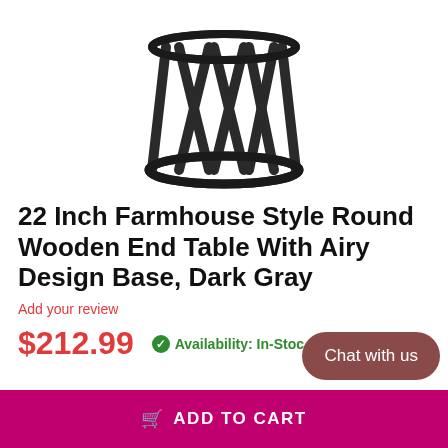[Figure (photo): A round farmhouse-style wooden end table with an airy X-pattern base in dark gray finish, photographed on a white background, showing the base/legs portion.]
22 Inch Farmhouse Style Round Wooden End Table With Airy Design Base, Dark Gray
Add your review
$212.99
Availability: In-Stock
Chat with us
ADD TO CART